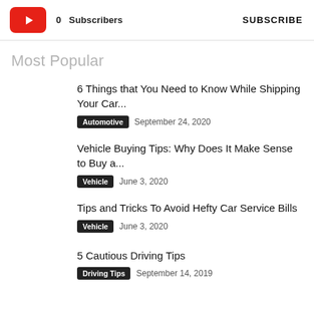[Figure (logo): YouTube-style red play button logo]
0  Subscribers
SUBSCRIBE
Most Popular
6 Things that You Need to Know While Shipping Your Car...
Automotive   September 24, 2020
Vehicle Buying Tips: Why Does It Make Sense to Buy a...
Vehicle   June 3, 2020
Tips and Tricks To Avoid Hefty Car Service Bills
Vehicle   June 3, 2020
5 Cautious Driving Tips
Driving Tips   September 14, 2019